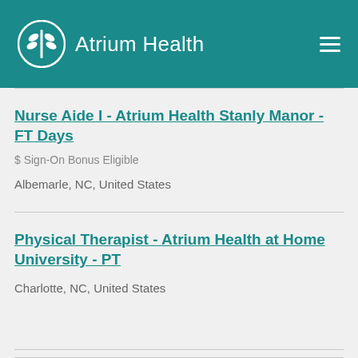Atrium Health
Nurse Aide I - Atrium Health Stanly Manor - FT Days
$ Sign-On Bonus Eligible
Albemarle, NC, United States
Physical Therapist - Atrium Health at Home University - PT
Charlotte, NC, United States